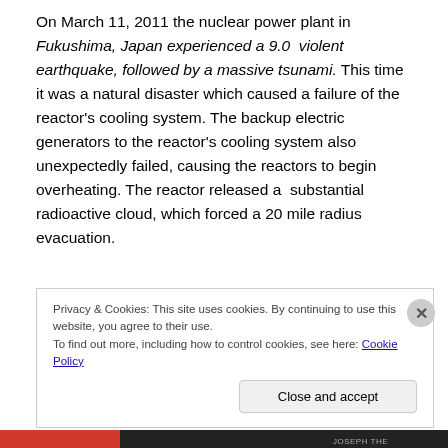On March 11, 2011 the nuclear power plant in Fukushima, Japan experienced a 9.0 violent earthquake, followed by a massive tsunami. This time it was a natural disaster which caused a failure of the reactor's cooling system. The backup electric generators to the reactor's cooling system also unexpectedly failed, causing the reactors to begin overheating. The reactor released a substantial radioactive cloud, which forced a 20 mile radius evacuation.
Privacy & Cookies: This site uses cookies. By continuing to use this website, you agree to their use. To find out more, including how to control cookies, see here: Cookie Policy